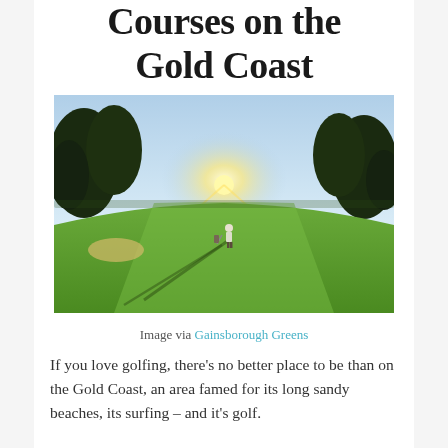Courses on the Gold Coast
[Figure (photo): A golfer walking on a lush green golf course fairway at sunset with long shadows, trees lining both sides and bright sunlight in the background.]
Image via Gainsborough Greens
If you love golfing, there’s no better place to be than on the Gold Coast, an area famed for its long sandy beaches, its surfing – and it’s golf.